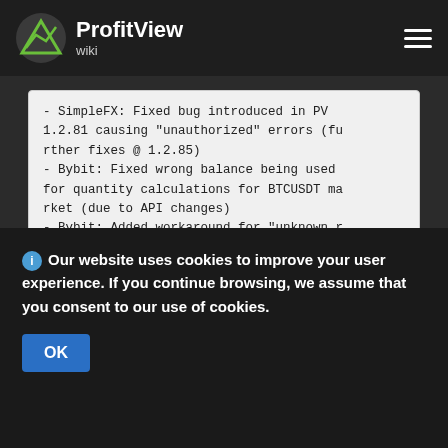ProfitView wiki
- SimpleFX: Fixed bug introduced in PV 1.2.81 causing "unauthorized" errors (further fixes @ 1.2.85)
- Bybit: Fixed wrong balance being used for quantity calculations for BTCUSDT market (due to API changes)
- Bybit: Added workaround for "unknown result" error when setting leverage on BTCUSDT market
Our website uses cookies to improve your user experience. If you continue browsing, we assume that you consent to our use of cookies.
OK